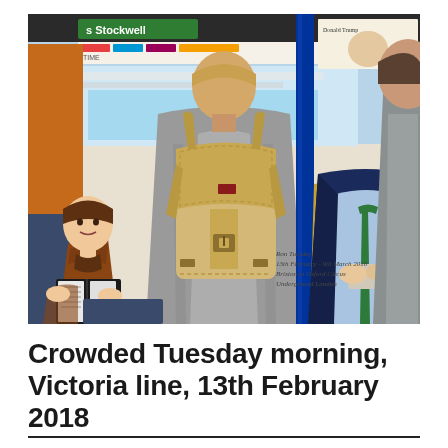[Figure (illustration): A digital illustration of a crowded London Underground Victoria line train carriage. The central figure is seen from behind wearing a grey coat with a large tan/beige canvas rucksack. To the left a young person sits reading a black book, wearing a brown jumper. On the left edge is an orange/brown coat. A bright blue vertical pole is visible in the centre-right. On the right side two people stand - one in a dark navy suit with a light blue shirt holding a phone, and another in a grey coat. In the background, destination signs including 's Stockwell' are visible above the windows, along with colourful London Underground line maps. In the lower right corner handwritten text reads: 'Run Tuesday / 13th February - 9th March 2018 / Brixton to Oxford Circus'. The background beyond the windows shows blue sky and station signage.]
Crowded Tuesday morning, Victoria line, 13th February 2018